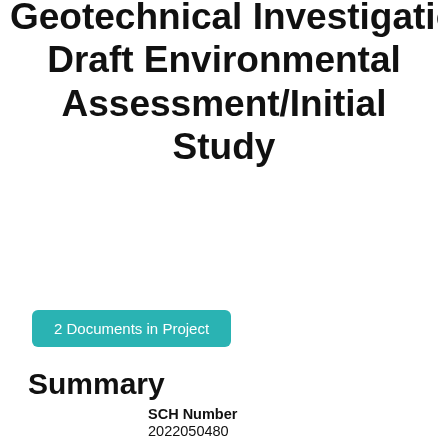Geotechnical Investigations Draft Environmental Assessment/Initial Study
2 Documents in Project
Summary
SCH Number
2022050480
Lead Agency
Site Project Authority (SPA)